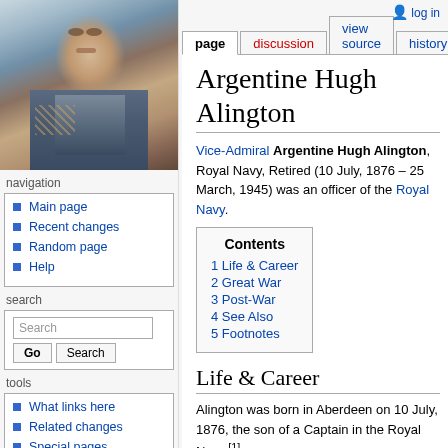log in
page | discussion | view source | history
[Figure (photo): Portrait painting of Vice-Admiral Argentine Hugh Alington in military uniform with medals]
navigation
Main page
Recent changes
Random page
Help
search
tools
What links here
Related changes
Special pages
Printable version
Permanent link
Argentine Hugh Alington
Vice-Admiral Argentine Hugh Alington, Royal Navy, Retired (10 July, 1876 – 25 March, 1945) was an officer of the Royal Navy.
| Contents |
| --- |
| 1 Life & Career |
| 2 Great War |
| 3 Post-War |
| 4 See Also |
| 5 Footnotes |
Life & Career
Alington was born in Aberdeen on 10 July, 1876, the son of a Captain in the Royal Navy.[1]
Alington succesfully took his entrance examinations for Britannia for the July 1890 intake term and obtained 1194 marks,[2] but his